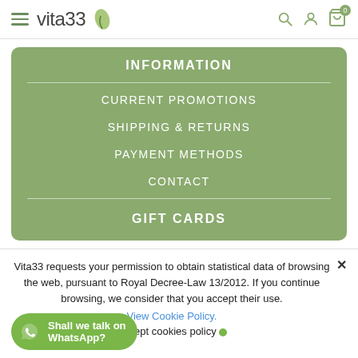vita33 — navigation header with hamburger menu, logo, search, account, cart icons
INFORMATION
CURRENT PROMOTIONS
SHIPPING & RETURNS
PAYMENT METHODS
CONTACT
GIFT CARDS
Vita33 requests your permission to obtain statistical data of browsing the web, pursuant to Royal Decree-Law 13/2012. If you continue browsing, we consider that you accept their use.
View Cookie Policy.
Accept cookies policy
Shall we talk on WhatsApp?